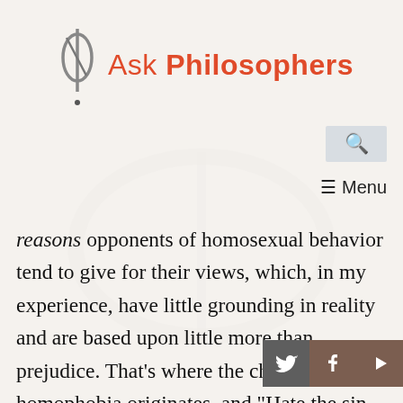Ask Philosophers
[Figure (other): Search icon button (magnifying glass) in a light grey box]
≡ Menu
reasons opponents of homosexual behavior tend to give for their views, which, in my experience, have little grounding in reality and are based upon little more than prejudice. That's where the charge of homophobia originates, and "Hate the sin love the sinner" doesn't being to answer it.
[Figure (other): Social share buttons: Twitter, Facebook, and Play/video icons]